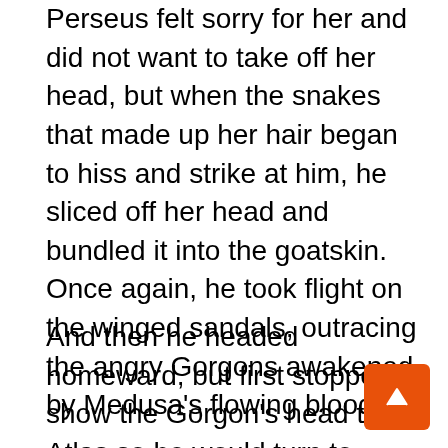Perseus felt sorry for her and did not want to take off her head, but when the snakes that made up her hair began to hiss and strike at him, he sliced off her head and bundled it into the goatskin.  Once again, he took flight on the winged sandals, outracing the angry Gorgons awakened by Medusa's flowing blood.
And then he headed homeward, but first stopped to show the Gorgon's head to Atlas so he would turn to stone and never again feel the burden of shouldering the heavens.
Perseus Finds a Wife
As Perseus flew home, drops of Medusa's blood fell to the deserts below him and each one turned into a poisonous viper.  He flew over deserts and valleys